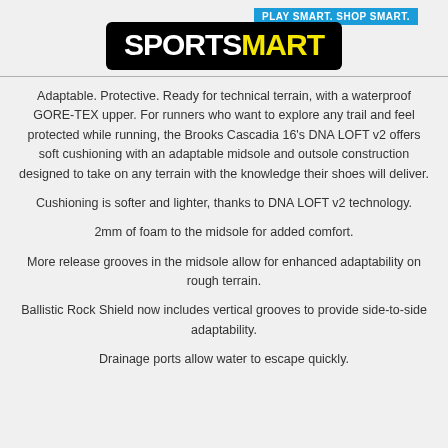[Figure (logo): SportsMart logo with black badge shape, white SPORTS and yellow MART text, and blue tagline banner reading PLAY SMART. SHOP SMART.]
Adaptable. Protective. Ready for technical terrain, with a waterproof GORE-TEX upper. For runners who want to explore any trail and feel protected while running, the Brooks Cascadia 16's DNA LOFT v2 offers soft cushioning with an adaptable midsole and outsole construction designed to take on any terrain with the knowledge their shoes will deliver.
Cushioning is softer and lighter, thanks to DNA LOFT v2 technology.
2mm of foam to the midsole for added comfort.
More release grooves in the midsole allow for enhanced adaptability on rough terrain.
Ballistic Rock Shield now includes vertical grooves to provide side-to-side adaptability.
Drainage ports allow water to escape quickly.